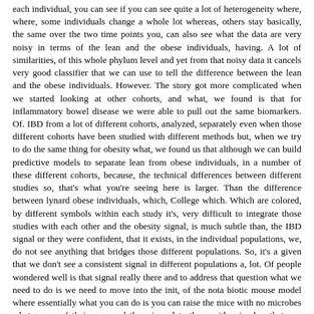each individual, you can see if you can see quite a lot of heterogeneity where, where, some individuals change a whole lot whereas, others stay basically, the same over the two time points you, can also see what the data are very noisy in terms of the lean and the obese individuals, having. A lot of similarities, of this whole phylum level and yet from that noisy data it cancels very good classifier that we can use to tell the difference between the lean and the obese individuals. However. The story got more complicated when we started looking at other cohorts, and what, we found is that for inflammatory bowel disease we were able to pull out the same biomarkers. Of. IBD from a lot of different cohorts, analyzed, separately even when those different cohorts have been studied with different methods but, when we try to do the same thing for obesity what, we found us that although we can build predictive models to separate lean from obese individuals, in a number of these different cohorts, because, the technical differences between different studies so, that's what you're seeing here is larger. Than the difference between lynard obese individuals, which, College which. Which are colored, by different symbols within each study it's, very difficult to integrate those studies with each other and the obesity signal, is much subtle than, the IBD signal or they were confident, that it exists, in the individual populations, we, do not see anything that bridges those different populations. So, it's a given that we don't see a consistent signal in different populations a, lot. Of people wondered well is that signal really there and to address that question what we need to do is we need to move into the init, of the nota biotic mouse model where essentially what you can do is you can raise the mice with no microbes whatsoever, of their own and then, inoculate them with microbes that you think you're going to cause the phenotypic difference, so.
When, We come back to. The ob/ob model, although this, was also done for diet induced obesity and as, I'll show you for a different use of the tlr5, mutants, what. We what, you can do is basically basically. Take the. Fecal pellets from the